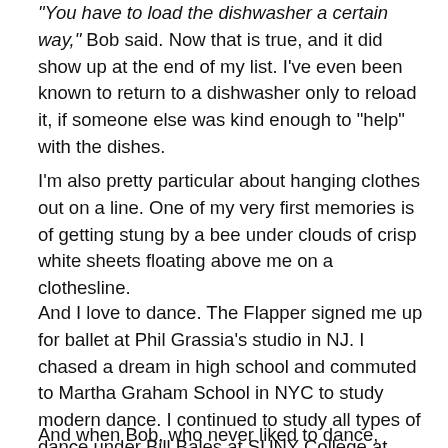“You have to load the dishwasher a certain way,” Bob said. Now that is true, and it did show up at the end of my list. I’ve even been known to return to a dishwasher only to reload it, if someone else was kind enough to “help” with the dishes.
I’m also pretty particular about hanging clothes out on a line. One of my very first memories is of getting stung by a bee under clouds of crisp white sheets floating above me on a clothesline.
And I love to dance. The Flapper signed me up for ballet at Phil Grassia’s studio in NJ. I chased a dream in high school and commuted to Martha Graham School in NYC to study modern dance. I continued to study all types of dance under Bill Bales at SUNY College at Purchase.
And when Bob, who never liked to dance, wouldn’t take